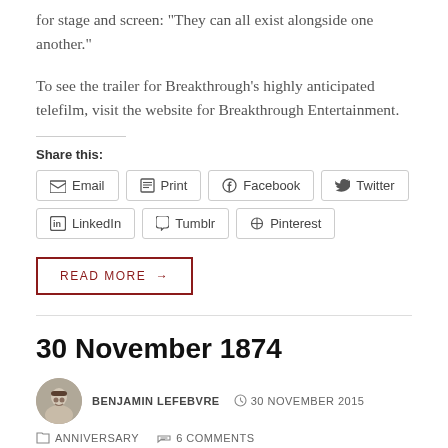for stage and screen: “They can all exist alongside one another.”
To see the trailer for Breakthrough’s highly anticipated telefilm, visit the website for Breakthrough Entertainment.
Share this:
Email  Print  Facebook  Twitter  LinkedIn  Tumblr  Pinterest
READ MORE →
30 November 1874
BENJAMIN LEFEBVRE   ⊙ 30 NOVEMBER 2015
↳ ANNIVERSARY   💬 6 COMMENTS